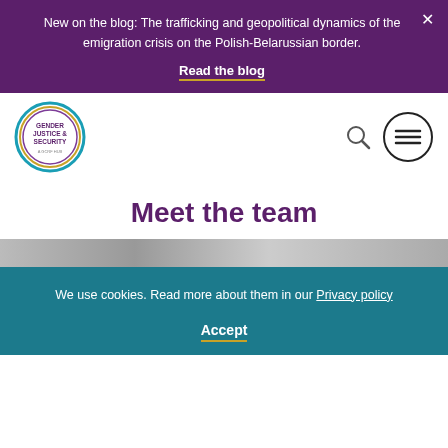New on the blog: The trafficking and geopolitical dynamics of the emigration crisis on the Polish-Belarussian border.
Read the blog
[Figure (logo): Gender Justice & Security - A GCRF Hub circular logo with teal, yellow and purple rings]
Meet the team
[Figure (photo): Team photo strip showing group of people]
We use cookies. Read more about them in our Privacy policy
Accept